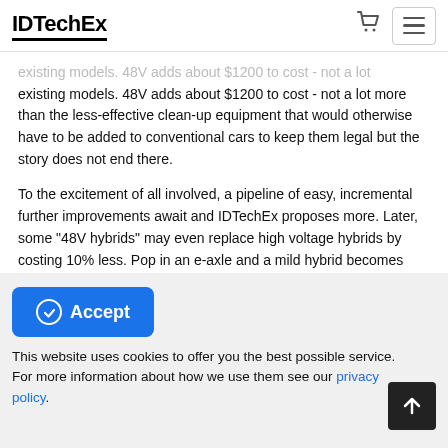IDTechEx
existing models. 48V adds about $1200 to cost - not a lot more than the less-effective clean-up equipment that would otherwise have to be added to conventional cars to keep them legal but the story does not end there.
To the excitement of all involved, a pipeline of easy, incremental further improvements await and IDTechEx proposes more. Later, some "48V hybrids" may even replace high voltage hybrids by costing 10% less. Pop in an e-axle and a mild hybrid becomes that full hybrid with excellent 40+km silent, all-electric range, even engine-off active cruising, electrically maintaining speed. All in very easy incremental steps. Indeed, some of the new parts can be used in the
Accept
This website uses cookies to offer you the best possible service. For more information about how we use them see our privacy policy.